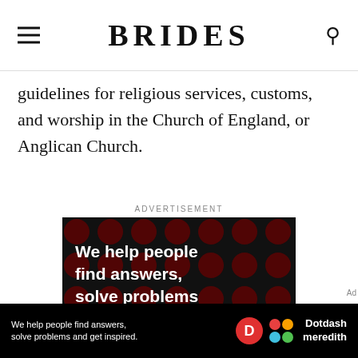BRIDES
guidelines for religious services, customs, and worship in the Church of England, or Anglican Church.
ADVERTISEMENT
[Figure (infographic): Advertisement with dark background and polka dot pattern. White bold text reads: 'We help people find answers, solve problems and get inspired.' with a red period. 'LEARN MORE' link with Dotdash and Meredith logos at bottom.]
[Figure (infographic): Bottom sticky ad bar. Black background. Text: 'We help people find answers, solve problems and get inspired.' with Dotdash Meredith logo on the right.]